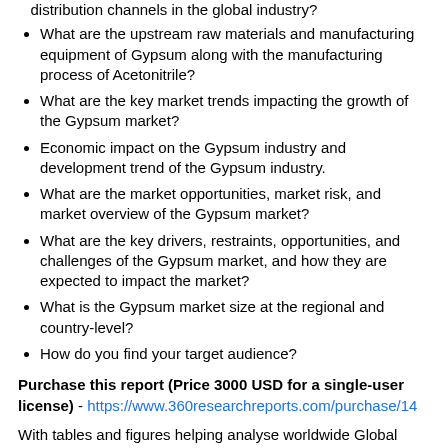distribution channels in the global industry?
What are the upstream raw materials and manufacturing equipment of Gypsum along with the manufacturing process of Acetonitrile?
What are the key market trends impacting the growth of the Gypsum market?
Economic impact on the Gypsum industry and development trend of the Gypsum industry.
What are the market opportunities, market risk, and market overview of the Gypsum market?
What are the key drivers, restraints, opportunities, and challenges of the Gypsum market, and how they are expected to impact the market?
What is the Gypsum market size at the regional and country-level?
How do you find your target audience?
Purchase this report (Price 3000 USD for a single-user license) - https://www.360researchreports.com/purchase/14
With tables and figures helping analyse worldwide Global Gypsum market trends, this research provides key statistics